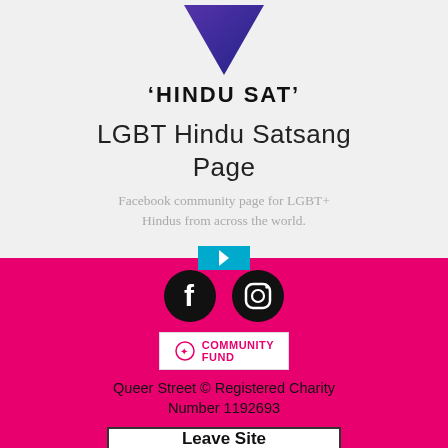[Figure (logo): Downward pointing triangle logo with purple/blue gradient, with text 'HINDU SAT' (partially cut off)]
LGBT Hindu Satsang Page
Facebook community page for LGBT+ Hindus from across the world.
[Figure (other): Cyan/blue arrow button pointing right]
[Figure (other): Facebook and Instagram social media icons (black circles with white logos)]
[Figure (logo): National Lottery Community Fund logo in white box]
Queer Street © Registered Charity Number 1192693
[Figure (other): Leave Site button - white rectangle with black border and bold text 'Leave Site']